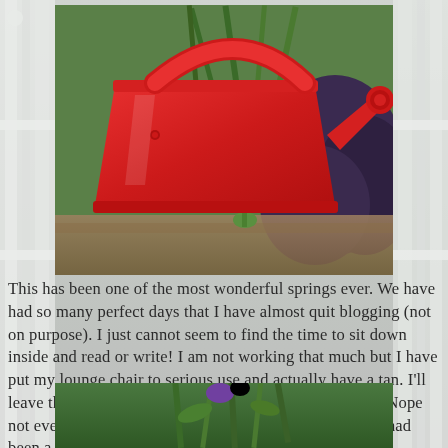[Figure (photo): A red metal watering can in front of green and purple garden plants]
This has been one of the most wonderful springs ever. We have had so many perfect days that I have almost quit blogging (not on purpose). I just cannot seem to find the time to sit down inside and read or write! I am not working that much but I have put my lounge chair to serious use and actually have a tan. I'll leave that to your imagination, no bathing suit pictures. Nope not ever. All those dimples would make you think there had been a hail storm, scar you for life.
[Figure (photo): Garden plants, green leaves and purple flowers, close-up view]